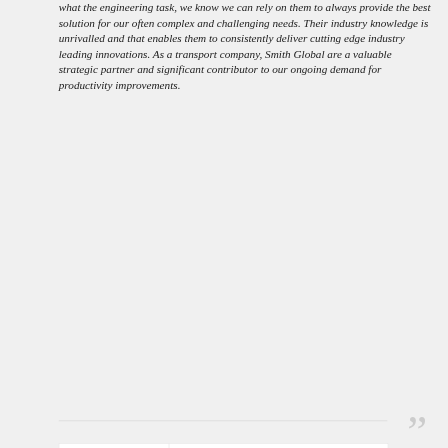what the engineering task, we know we can rely on them to always provide the best solution for our often complex and challenging needs. Their industry knowledge is unrivalled and that enables them to consistently deliver cutting edge industry leading innovations. As a transport company, Smith Global are a valuable strategic partner and significant contributor to our ongoing demand for productivity improvements.
[Figure (other): Large closing quotation marks decorative element in light grey]
[Figure (logo): Toll logo in teal/green italic bold text with company name Tom Freeman, Toll Mining Services attribution]